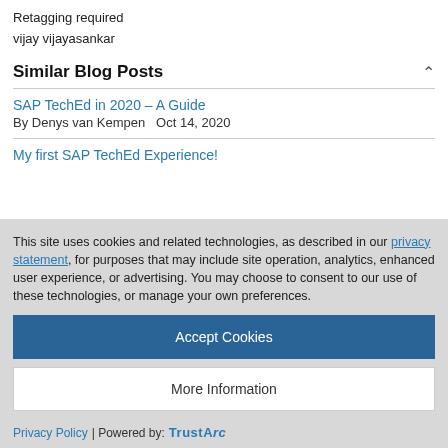Retagging required
vijay vijayasankar
Similar Blog Posts
SAP TechEd in 2020 – A Guide
By Denys van Kempen   Oct 14, 2020
My first SAP TechEd Experience!
This site uses cookies and related technologies, as described in our privacy statement, for purposes that may include site operation, analytics, enhanced user experience, or advertising. You may choose to consent to our use of these technologies, or manage your own preferences.
Accept Cookies
More Information
Privacy Policy | Powered by: TrustArc